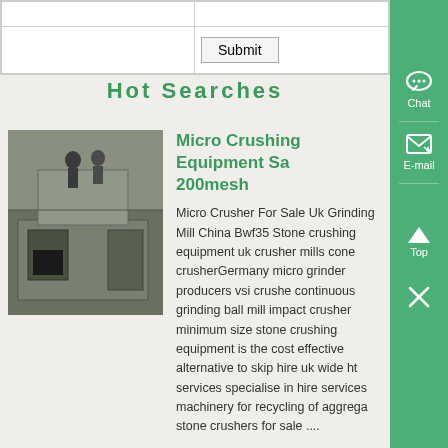|  |  |
| Submit |  |
Hot Searches
[Figure (photo): Industrial crushing/grinding equipment machine, a large metal box-like structure with people visible in the background]
Micro Crushing Equipment Sale 200mesh
Micro Crusher For Sale Uk Grinding Mill China Bwf35 Stone crushing equipment uk crusher mills cone crusherGermany micro grinder producers vsi crushe continuous grinding ball mill impact crusher minimum size stone crushing equipment is the cost effective alternative to skip hire uk wide ht services specialise in hire services machinery for recycling of aggregate stone crushers for sale ....